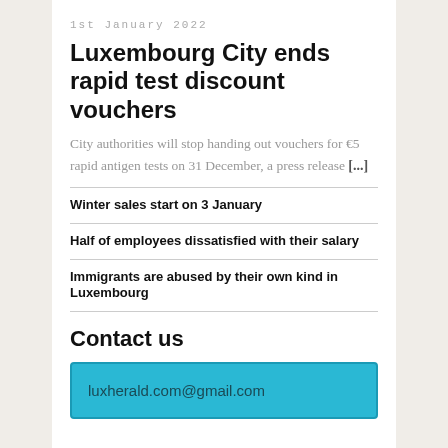1st January 2022
Luxembourg City ends rapid test discount vouchers
City authorities will stop handing out vouchers for €5 rapid antigen tests on 31 December, a press release [...]
Winter sales start on 3 January
Half of employees dissatisfied with their salary
Immigrants are abused by their own kind in Luxembourg
Contact us
luxherald.com@gmail.com